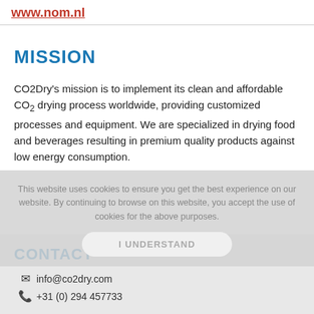www.nom.nl
MISSION
CO2Dry's mission is to implement its clean and affordable CO₂ drying process worldwide, providing customized processes and equipment. We are specialized in drying food and beverages resulting in premium quality products against low energy consumption.
CONTACT
info@co2dry.com
+31 (0) 294 457733
This website uses cookies to ensure you get the best experience on our website. By continuing to browse on this website, you accept the use of cookies for the above purposes.